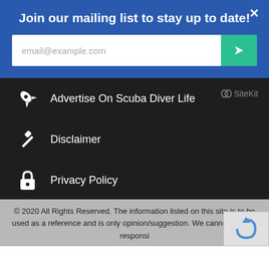Join our mailing list to stay up to date!
email@example.com
Advertise On Scuba Diver Life
Disclaimer
Privacy Policy
Terms Of Use
© 2020 All Rights Reserved. The information listed on this site is to be used as a reference and is only opinion/suggestion. We cannot be held responsi...